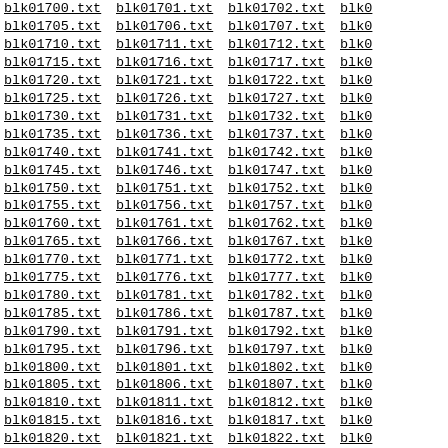blk01700.txt blk01701.txt blk01702.txt blk0... blk01705.txt blk01706.txt blk01707.txt blk0... (continuing pattern through blk01822.txt)